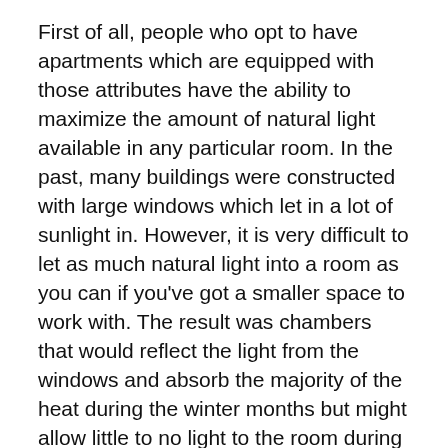First of all, people who opt to have apartments which are equipped with those attributes have the ability to maximize the amount of natural light available in any particular room. In the past, many buildings were constructed with large windows which let in a lot of sunlight in. However, it is very difficult to let as much natural light into a room as you can if you've got a smaller space to work with. The result was chambers that would reflect the light from the windows and absorb the majority of the heat during the winter months but might allow little to no light to the room during the summertime. These types of rooms would also make it very hard to utilize the heat in every area.
Apartment dwellings which are outfitted with